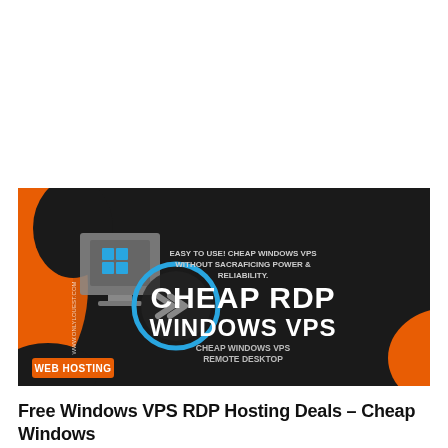[Figure (illustration): Promotional banner for Cheap RDP Windows VPS hosting. Dark background with orange accents. Left side shows a grey Windows desktop icon overlapping a blue circle with a double-arrow remote desktop symbol. Right side has white text: 'EASY TO USE! CHEAP WINDOWS VPS WITHOUT SACRAFICING POWER & RELIABILITY' and large bold text 'CHEAP RDP WINDOWS VPS' with smaller text 'CHEAP WINDOWS VPS REMOTE DESKTOP'. Orange tag at bottom-left reads 'WEB HOSTING'. Vertical text on far left reads 'www.onlylouest.com'.]
Free Windows VPS RDP Hosting Deals – Cheap Windows